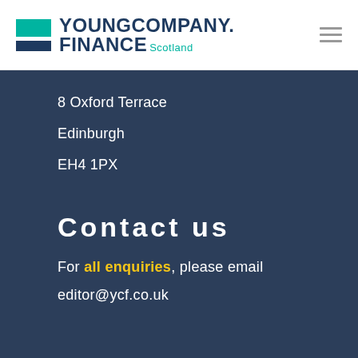[Figure (logo): Young Company Finance Scotland logo with teal and navy rectangular blocks and text]
8 Oxford Terrace
Edinburgh
EH4 1PX
Contact us
For all enquiries, please email
editor@ycf.co.uk